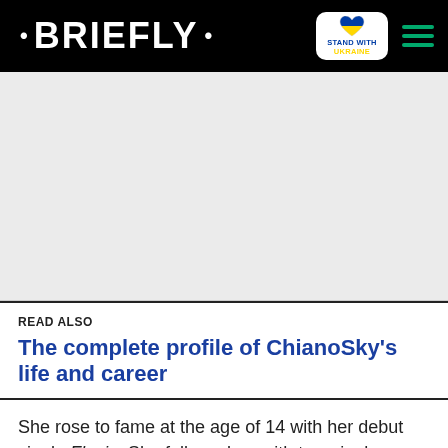• BRIEFLY •
[Figure (logo): Stand With Ukraine badge with heart icon in blue and yellow]
READ ALSO
The complete profile of ChianoSky's life and career
She rose to fame at the age of 14 with her debut single Flexin. She followed up with two singles Trends and Hate Then. She came through with her first mixtape Indigo, which